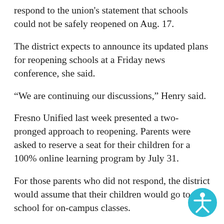respond to the union's statement that schools could not be safely reopened on Aug. 17.
The district expects to announce its updated plans for reopening schools at a Friday news conference, she said.
“We are continuing our discussions,” Henry said.
Fresno Unified last week presented a two-pronged approach to reopening. Parents were asked to reserve a seat for their children for a 100% online learning program by July 31.
For those parents who did not respond, the district would assume that their children would go to school for on-campus classes.
While the district’s reopening plan includes requiring masks and health screening, it said six-foot distancing
[Figure (illustration): Accessibility icon: a circular teal/cyan button with a white stick figure person with arms outstretched, representing website accessibility]